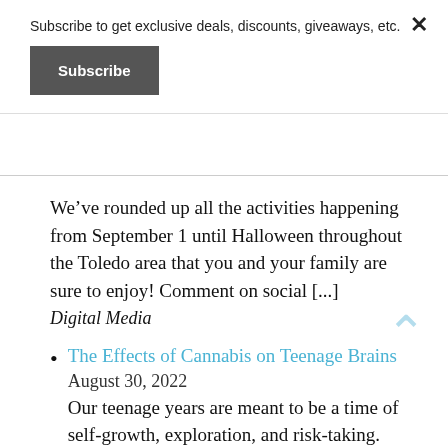Subscribe to get exclusive deals, discounts, giveaways, etc.
Subscribe
We’ve rounded up all the activities happening from September 1 until Halloween throughout the Toledo area that you and your family are sure to enjoy! Comment on social [...]
Digital Media
The Effects of Cannabis on Teenage Brains
August 30, 2022
Our teenage years are meant to be a time of self-growth, exploration, and risk-taking. Some risks help to promote productive habits and lifestyles for teenagers and young adults, such as applying for a first job